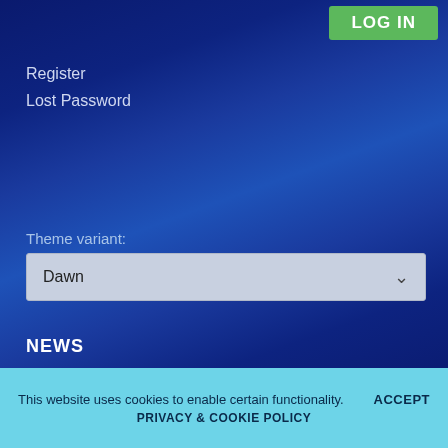LOG IN
Register
Lost Password
Theme variant:
Dawn
NEWS
DisplayCAL 3.8.9.3 released
2019-12-14
DisplayCAL 3.8.9.2 released
2019-12-13
This website uses cookies to enable certain functionality.    ACCEPT
PRIVACY & COOKIE POLICY